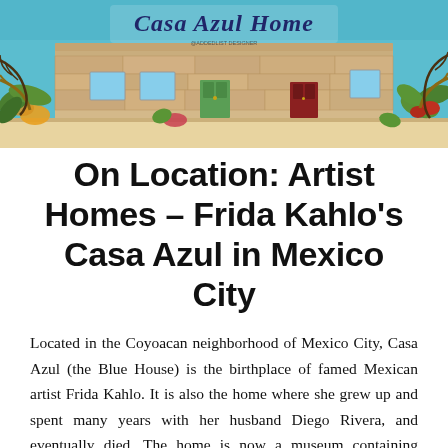[Figure (illustration): Casa Azul Home illustrated banner header featuring a blue and tan stone building facade with colorful tropical plants, leaves, and flowers surrounding a 'Casa Azul Home' cursive script logo on a teal/cyan background]
On Location: Artist Homes – Frida Kahlo's Casa Azul in Mexico City
Located in the Coyoacan neighborhood of Mexico City, Casa Azul (the Blue House) is the birthplace of famed Mexican artist Frida Kahlo. It is also the home where she grew up and spent many years with her husband Diego Rivera, and eventually died. The home is now a museum containing artworks from both artists as well as many personal items and memorabilia as well as Mexican folk art. One would say the home is as colorful as it's inhabitants were. Frida led a somewhat tragic life with a horrible accident as a young woman that left her with a lifetime of pain, yet she continued to fill the world